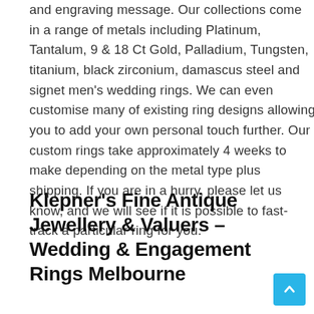and engraving message. Our collections come in a range of metals including Platinum, Tantalum, 9 & 18 Ct Gold, Palladium, Tungsten, titanium, black zirconium, damascus steel and signet men's wedding rings. We can even customise many of existing ring designs allowing you to add your own personal touch further. Our custom rings take approximately 4 weeks to make depending on the metal type plus shipping. If you are in a hurry, please let us know, and we will see if it is possible to fast-track a particular ring for you.
Klepner's Fine Antique Jewellery & Valuers – Wedding & Engagement Rings Melbourne